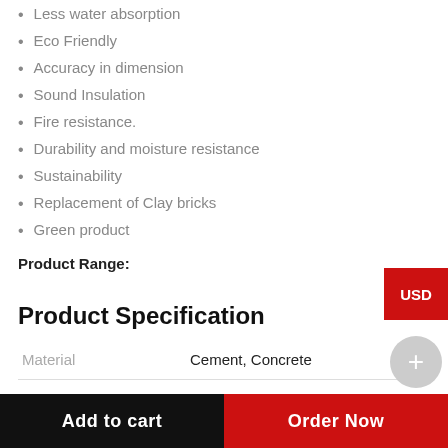Less water absorption
Eco Friendly
Accuracy in dimension
Sound Insulation
Fire resistance.
Durability and moisture resistance
Sustainability
Replacement of Clay bricks
Green product
Product Range:
Product Specification
|  |  |
| --- | --- |
| Material | Cement, Concrete |
| Brand | VED |
Add to cart
Order Now